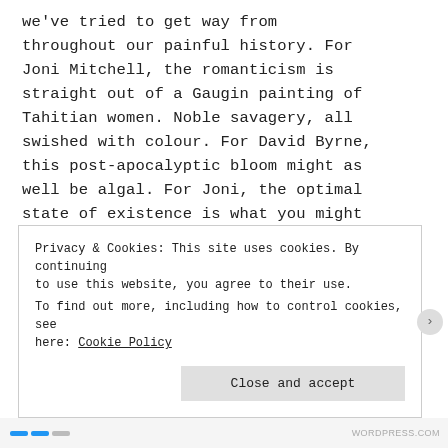we've tried to get way from throughout our painful history. For Joni Mitchell, the romanticism is straight out of a Gaugin painting of Tahitian women. Noble savagery, all swished with colour. For David Byrne, this post-apocalyptic bloom might as well be algal. For Joni, the optimal state of existence is what you might term prelapsarian, that is to say, straight from the Garden of Eden
Privacy & Cookies: This site uses cookies. By continuing to use this website, you agree to their use. To find out more, including how to control cookies, see here: Cookie Policy